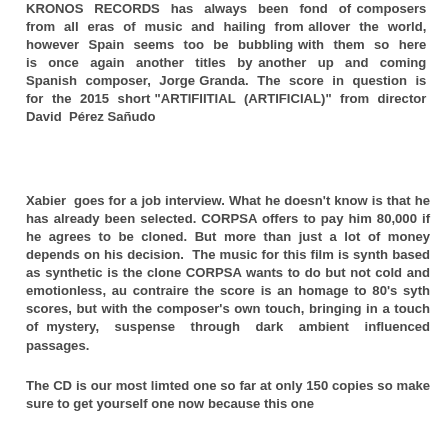KRONOS RECORDS has always been fond of composers from all eras of music and hailing from allover the world, however Spain seems too be bubbling with them so here is once again another titles by another up and coming Spanish composer, Jorge Granda. The score in question is for the 2015 short "ARTIFIITIAL (ARTIFICIAL)" from director David Pérez Sañudo
Xabier goes for a job interview. What he doesn't know is that he has already been selected. CORPSA offers to pay him 80,000 if he agrees to be cloned. But more than just a lot of money depends on his decision. The music for this film is synth based as synthetic is the clone CORPSA wants to do but not cold and emotionless, au contraire the score is an homage to 80's syth scores, but with the composer's own touch, bringing in a touch of mystery, suspense through dark ambient influenced passages.
The CD is our most limted one so far at only 150 copies so make sure to get yourself one now because this one will...